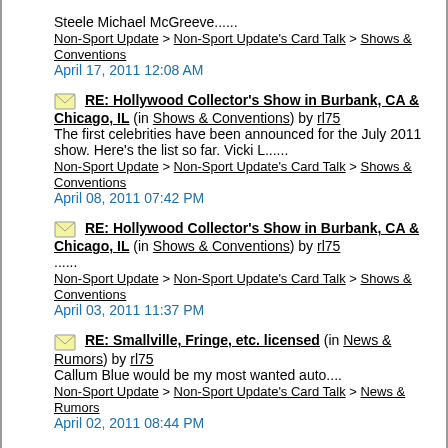Steele Michael McGreeve......
Non-Sport Update > Non-Sport Update's Card Talk > Shows & Conventions
April 17, 2011 12:08 AM
RE: Hollywood Collector's Show in Burbank, CA & Chicago, IL (in Shows & Conventions) by rl75 — The first celebrities have been announced for the July 2011 show. Here's the list so far. Vicki L...... — Non-Sport Update > Non-Sport Update's Card Talk > Shows & Conventions — April 08, 2011 07:42 PM
RE: Hollywood Collector's Show in Burbank, CA & Chicago, IL (in Shows & Conventions) by rl75 — ...... — Non-Sport Update > Non-Sport Update's Card Talk > Shows & Conventions — April 03, 2011 11:37 PM
RE: Smallville, Fringe, etc. licensed (in News & Rumors) by rl75 — Callum Blue would be my most wanted auto.... — Non-Sport Update > Non-Sport Update's Card Talk > News & Rumors — April 02, 2011 08:44 PM